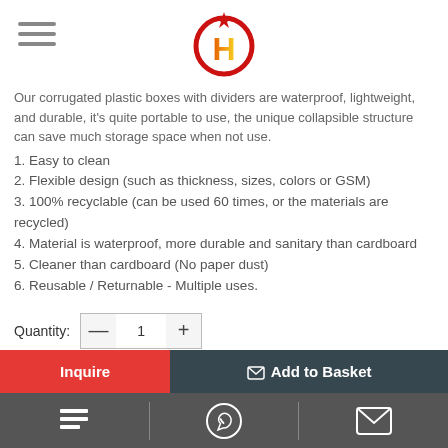Our corrugated plastic boxes with dividers are waterproof, lightweight, and durable, it's quite portable to use, the unique collapsible structure can save much storage space when not use.
1. Easy to clean
2. Flexible design (such as thickness, sizes, colors or GSM)
3. 100% recyclable (can be used 60 times, or the materials are recycled)
4. Material is waterproof, more durable and sanitary than cardboard
5. Cleaner than cardboard (No paper dust)
6. Reusable / Returnable - Multiple uses.
Quantity: 1
Share this: